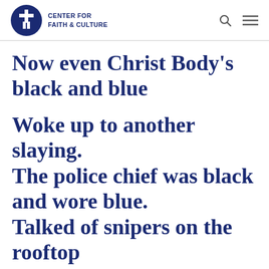CENTER FOR FAITH & CULTURE
Now even Christ Body's black and blue
Woke up to another slaying.
The police chief was black and wore blue.
Talked of snipers on the rooftop